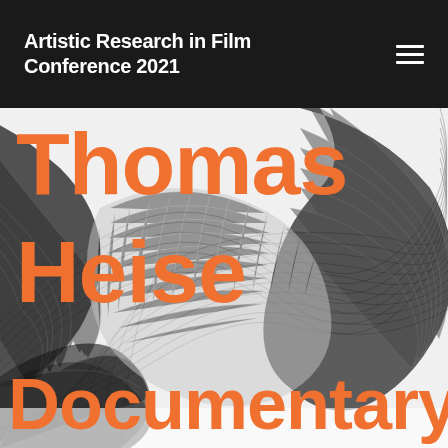Artistic Research in Film Conference 2021
[Figure (illustration): Abstract black and white mesh/wave pattern graphic forming swirling curved shapes with grid texture, used as background behind orange title text]
Thomas Heise Documentary